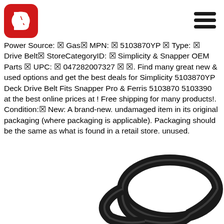[Figure (logo): Red rounded square logo with white letter B shape inside]
[Figure (other): Hamburger menu icon: three horizontal black bars]
Power Source: ◼ Gas◼ MPN: ◼ 5103870YP ◼ Type: ◼ Drive Belt◼ StoreCategoryID: ◼ Simplicity & Snapper OEM Parts ◼ UPC: ◼ 047282007327 ◼ ◼. Find many great new & used options and get the best deals for Simplicity 5103870YP Deck Drive Belt Fits Snapper Pro & Ferris 5103870 5103390 at the best online prices at ! Free shipping for many products!. Condition:◼ New: A brand-new. undamaged item in its original packaging (where packaging is applicable). Packaging should be the same as what is found in a retail store. unused.
[Figure (photo): Photo of a black rubber drive belt coiled/looped, showing the V-belt cross-section on a white background]